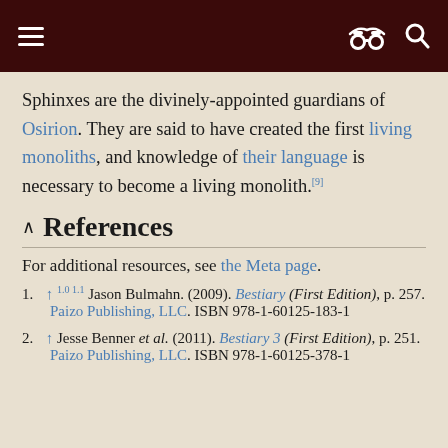Wikipedia-style mobile page header with hamburger menu, spy icon, and search icon
Sphinxes are the divinely-appointed guardians of Osirion. They are said to have created the first living monoliths, and knowledge of their language is necessary to become a living monolith.[9]
References
For additional resources, see the Meta page.
1. ↑ 1.0 1.1 Jason Bulmahn. (2009). Bestiary (First Edition), p. 257. Paizo Publishing, LLC. ISBN 978-1-60125-183-1
2. ↑ Jesse Benner et al. (2011). Bestiary 3 (First Edition), p. 251. Paizo Publishing, LLC. ISBN 978-1-60125-378-1